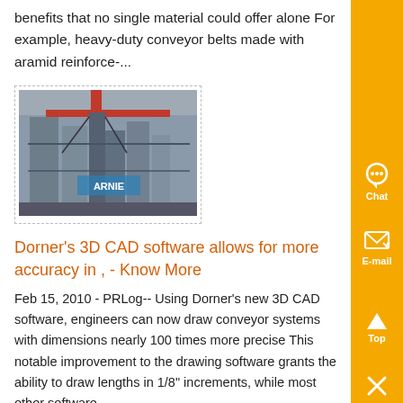benefits that no single material could offer alone For example, heavy-duty conveyor belts made with aramid reinforce-...
[Figure (photo): Industrial facility interior showing large metal silos or processing equipment with overhead crane and structural framework]
Dorner's 3D CAD software allows for more accuracy in , - Know More
Feb 15, 2010 - PRLog-- Using Dorner's new 3D CAD software, engineers can now draw conveyor systems with dimensions nearly 100 times more precise This notable improvement to the drawing software grants the ability to draw lengths in 1/8" increments, while most other software ,...